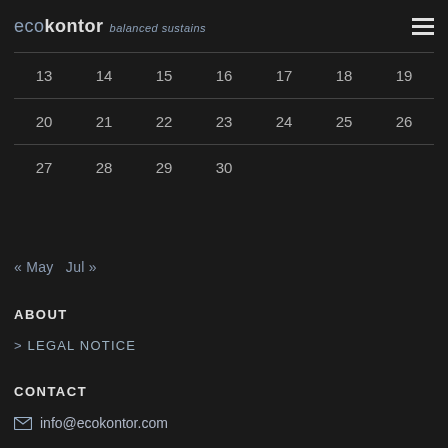ecokontor  balanced sustains
| 13 | 14 | 15 | 16 | 17 | 18 | 19 |
| 20 | 21 | 22 | 23 | 24 | 25 | 26 |
| 27 | 28 | 29 | 30 |  |  |  |
« May  Jul »
ABOUT
> LEGAL NOTICE
CONTACT
info@ecokontor.com